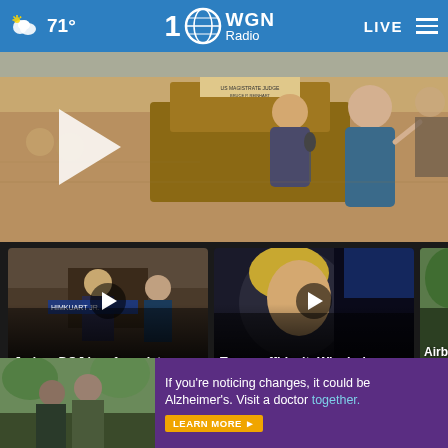71° WGN Radio 100 LIVE
[Figure (screenshot): Court sketch showing a lawyer speaking at a podium before a magistrate judge, with audience members in the background. A play button overlay appears on the left side.]
[Figure (screenshot): Video thumbnail showing a courtroom scene with a play button. Title: Judge: DOJ has 1 week to provide redacted... Time: 8 hours ago]
[Figure (screenshot): Video thumbnail showing Donald Trump with a play button overlay. Title: Trump affidavit: Why judge may want some ... Time: 5 hours ago]
[Figure (screenshot): Partially visible video thumbnail. Title starts with: Airbn... for ba...]
More Videos »
[Figure (photo): Two men standing outdoors, advertisement image for Alzheimer's awareness]
If you're noticing changes, it could be Alzheimer's. Visit a doctor together. LEARN MORE ▶